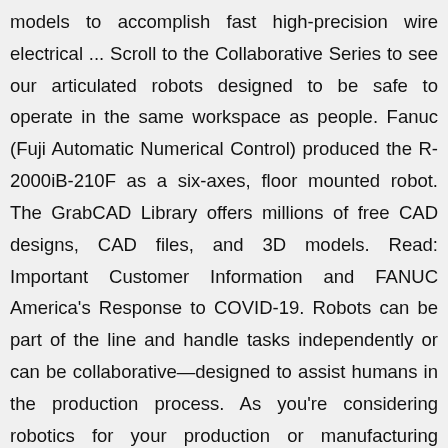models to accomplish fast high-precision wire electrical ... Scroll to the Collaborative Series to see our articulated robots designed to be safe to operate in the same workspace as people. Fanuc (Fuji Automatic Numerical Control) produced the R-2000iB-210F as a six-axes, floor mounted robot. The GrabCAD Library offers millions of free CAD designs, CAD files, and 3D models. Read: Important Customer Information and FANUC America's Response to COVID-19. Robots can be part of the line and handle tasks independently or can be collaborative—designed to assist humans in the production process. As you're considering robotics for your production or manufacturing facility, there are six additional categories of robots by series to explore. FANUC M-10 Series Robot: The fast, compact solution to all your small handling jobs. Delta robots are practical choices to perform repetitive tasks quickly and consistently. These welding robots feature a slim arm and hollow wrist design. FANUC offers a selection of models that can be customized to meet the welding demands of your organization. SCARA Robot SR-20 ... With more